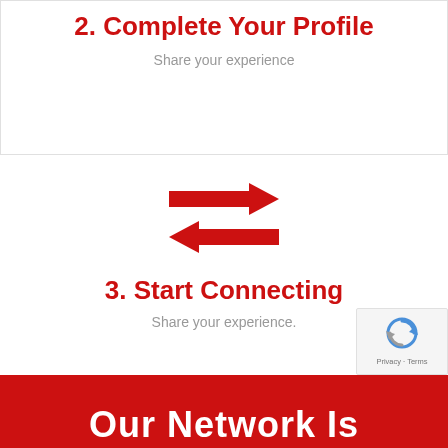2. Complete Your Profile
Share your experience
[Figure (illustration): Two horizontal red arrows pointing in opposite directions (left and right), representing a transfer or exchange icon.]
3. Start Connecting
Share your experience.
Our Network Is
[Figure (logo): reCAPTCHA badge with Privacy and Terms links]